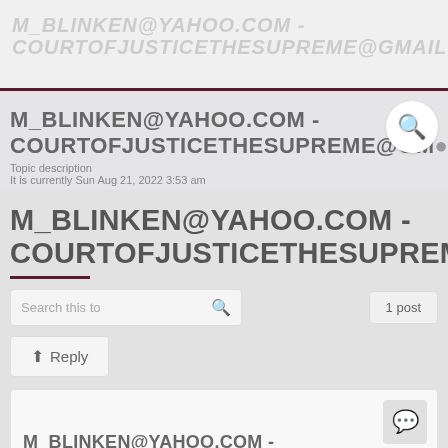M_BLINKEN@YAHOO.COM - COURTOFJUSTICETHESUPREME@GMAIL.COM
Topic description
It is currently Sun Aug 21, 2022 3:53 am
M_BLINKEN@YAHOO.COM - COURTOFJUSTICETHESUPREME@GMAIL.COM
Search this to
1 post
Reply
M_BLINKEN@YAHOO.COM -